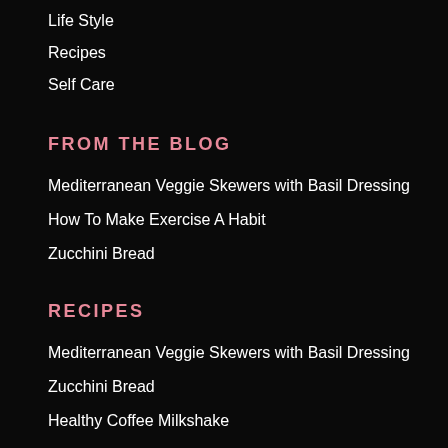Life Style
Recipes
Self Care
FROM THE BLOG
Mediterranean Veggie Skewers with Basil Dressing
How To Make Exercise A Habit
Zucchini Bread
RECIPES
Mediterranean Veggie Skewers with Basil Dressing
Zucchini Bread
Healthy Coffee Milkshake